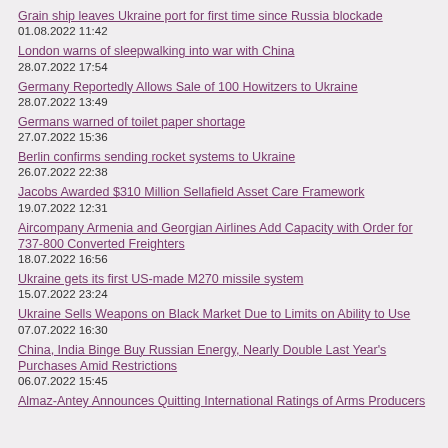Grain ship leaves Ukraine port for first time since Russia blockade
01.08.2022 11:42
London warns of sleepwalking into war with China
28.07.2022 17:54
Germany Reportedly Allows Sale of 100 Howitzers to Ukraine
28.07.2022 13:49
Germans warned of toilet paper shortage
27.07.2022 15:36
Berlin confirms sending rocket systems to Ukraine
26.07.2022 22:38
Jacobs Awarded $310 Million Sellafield Asset Care Framework
19.07.2022 12:31
Aircompany Armenia and Georgian Airlines Add Capacity with Order for 737-800 Converted Freighters
18.07.2022 16:56
Ukraine gets its first US-made M270 missile system
15.07.2022 23:24
Ukraine Sells Weapons on Black Market Due to Limits on Ability to Use
07.07.2022 16:30
China, India Binge Buy Russian Energy, Nearly Double Last Year's Purchases Amid Restrictions
06.07.2022 15:45
Almaz-Antey Announces Quitting International Ratings of Arms Producers